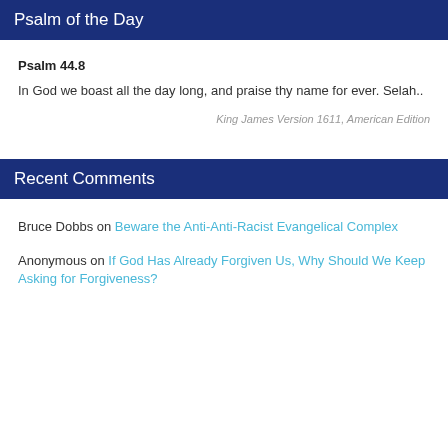Psalm of the Day
Psalm 44.8
In God we boast all the day long, and praise thy name for ever. Selah..
King James Version 1611, American Edition
Recent Comments
Bruce Dobbs on Beware the Anti-Anti-Racist Evangelical Complex
Anonymous on If God Has Already Forgiven Us, Why Should We Keep Asking for Forgiveness?